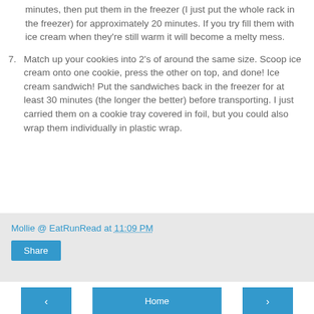minutes, then put them in the freezer (I just put the whole rack in the freezer) for approximately 20 minutes. If you try fill them with ice cream when they're still warm it will become a melty mess.
7. Match up your cookies into 2's of around the same size. Scoop ice cream onto one cookie, press the other on top, and done! Ice cream sandwich! Put the sandwiches back in the freezer for at least 30 minutes (the longer the better) before transporting. I just carried them on a cookie tray covered in foil, but you could also wrap them individually in plastic wrap.
Mollie @ EatRunRead at 11:09 PM
Share
‹  Home  ›